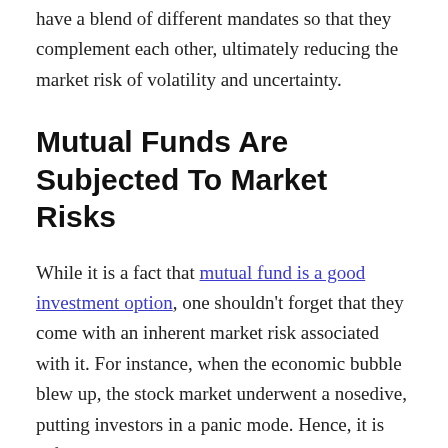have a blend of different mandates so that they complement each other, ultimately reducing the market risk of volatility and uncertainty.
Mutual Funds Are Subjected To Market Risks
While it is a fact that mutual fund is a good investment option, one shouldn't forget that they come with an inherent market risk associated with it. For instance, when the economic bubble blew up, the stock market underwent a nosedive, putting investors in a panic mode. Hence, it is safe to say that laying all your